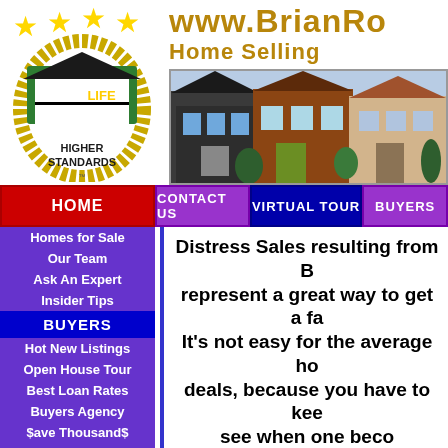[Figure (logo): HomeLife Higher Standards logo with gold stars and laurel wreath]
www.BrianRo... Home Selling
[Figure (photo): Photo of houses/homes for sale]
HOME
Homes for Sale
Our Team
Ask An Expert
Insider Tips
BUYERS
Hot New Listings
Open House Tour
Best Loan Rates
Buyers Agency
$ave Thousand$
Home Inspection
Avoid Buyer Traps
Distress Sales resulting from B... represent a great way to get a fa... It's not easy for the average ho... deals, because you have to kee... see when one beco...
If you're the type of person who recogniz... these properties could represent, you will ... new free computerized service we are of... compile a current list of all such properties... free, no obligation service, you're automatic... current list of Foreclosure Properties om...